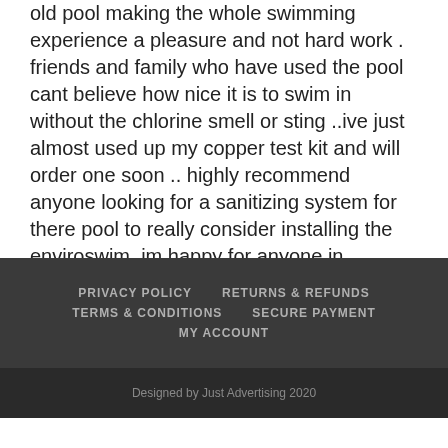old pool making the whole swimming experience a pleasure and not hard work . friends and family who have used the pool cant believe how nice it is to swim in without the chlorine smell or sting ..ive just almost used up my copper test kit and will order one soon .. highly recommend anyone looking for a sanitizing system for there pool to really consider installing the enviroswim. im happy for anyone in Adelaide thinking of installing a unit to come and view my pool and see the unit first hand." - Dean, 2017
PRIVACY POLICY | RETURNS & REFUNDS | TERMS & CONDITIONS | SECURE PAYMENT | MY ACCOUNT
Designed by Just Advertising 2020